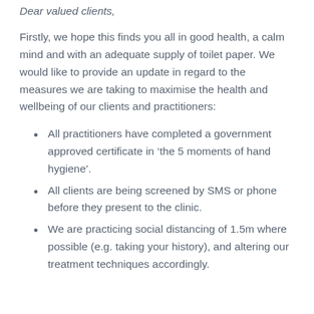Dear valued clients,
Firstly, we hope this finds you all in good health, a calm mind and with an adequate supply of toilet paper. We would like to provide an update in regard to the measures we are taking to maximise the health and wellbeing of our clients and practitioners:
All practitioners have completed a government approved certificate in ‘the 5 moments of hand hygiene’.
All clients are being screened by SMS or phone before they present to the clinic.
We are practicing social distancing of 1.5m where possible (e.g. taking your history), and altering our treatment techniques accordingly.